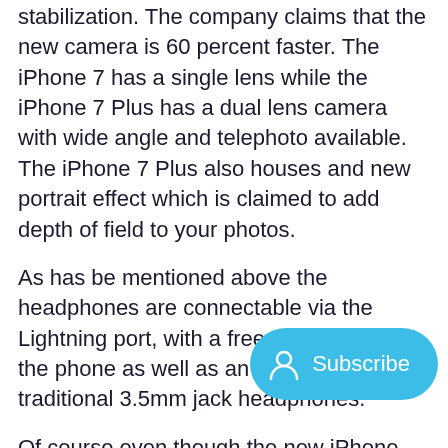stabilization. The company claims that the new camera is 60 percent faster. The iPhone 7 has a single lens while the iPhone 7 Plus has a dual lens camera with wide angle and telephoto available. The iPhone 7 Plus also houses and new portrait effect which is claimed to add depth of field to your photos.
As has be mentioned above the headphones are connectable via the Lightning port, with a free set coming with the phone as well as an adapter for the traditional 3.5mm jack headphones.
Of course even though the new iPhone will not be sporting a 3.5mm headphone jack, products will flood the market w... can live without it. Personally, I think the